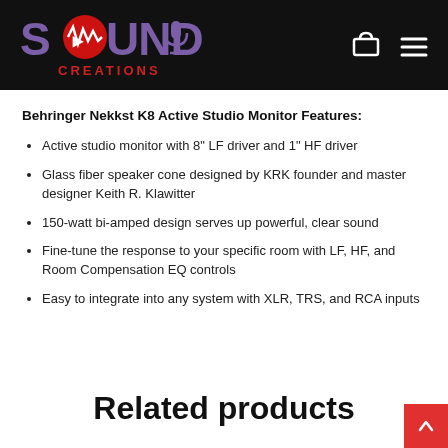Sound Creations — navigation header
Behringer Nekkst K8 Active Studio Monitor Features:
Active studio monitor with 8" LF driver and 1" HF driver
Glass fiber speaker cone designed by KRK founder and master designer Keith R. Klawitter
150-watt bi-amped design serves up powerful, clear sound
Fine-tune the response to your specific room with LF, HF, and Room Compensation EQ controls
Easy to integrate into any system with XLR, TRS, and RCA inputs
Related products